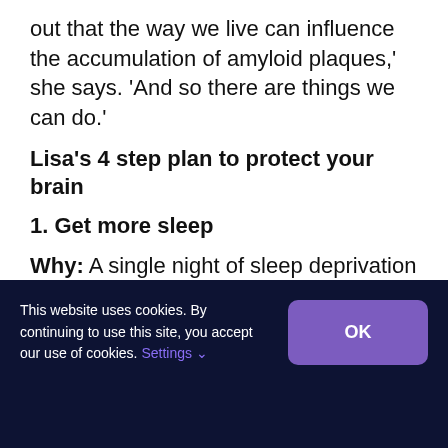out that the way we live can influence the accumulation of amyloid plaques,' she says. 'And so there are things we can do.'
Lisa's 4 step plan to protect your brain
1. Get more sleep
Why: A single night of sleep deprivation leads to an increase in amyloid beta, which creates
This website uses cookies. By continuing to use this site, you accept our use of cookies. Settings ∨